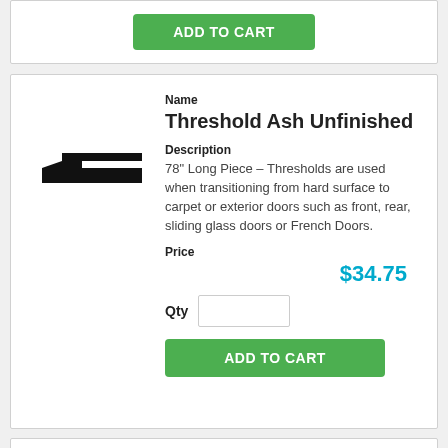[Figure (other): ADD TO CART button at top of page (partial previous product card)]
[Figure (illustration): Black silhouette of a threshold/door trim molding cross-section profile]
Name
Threshold Ash Unfinished
Description
78" Long Piece – Thresholds are used when transitioning from hard surface to carpet or exterior doors such as front, rear, sliding glass doors or French Doors.
Price
$34.75
Qty
[Figure (other): ADD TO CART green button]